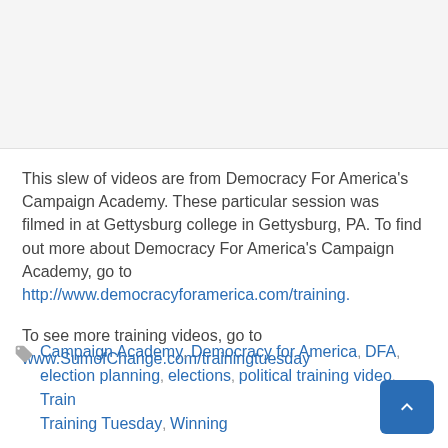[Figure (other): Blank/grey image area at top of page]
This slew of videos are from Democracy For America's Campaign Academy.  These particular session was filmed in at Gettysburg college in Gettysburg, PA.  To find out more about Democracy For America's Campaign Academy, go to http://www.democracyforamerica.com/training.
To see more training videos, go to www.SumofChange.com/trainingtuesday
Campaign Academy, Democracy for America, DFA, election planning, elections, political training video, Training Tuesday, Winning